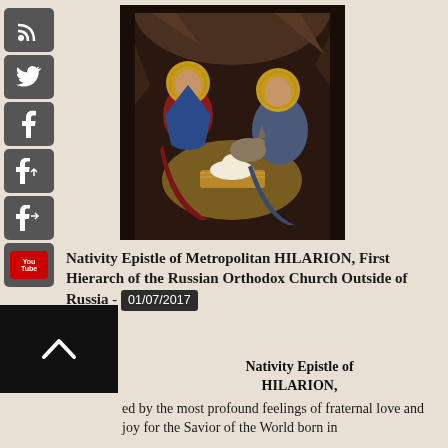[Figure (illustration): Orthodox icon-style painting of the Nativity scene. Two haloed figures (Mary and Joseph) kneel around the Christ child in a manger, with a donkey visible, set against a dark cave background.]
Nativity Epistle of Metropolitan HILARION, First Hierarch of the Russian Orthodox Church Outside of Russia - 01/07/2017
Nativity Epistle of
HILARION,
Metropolitan of Eastern America and New York,
First Hierarch of the Russian Orthodox Church Outside of Russia
ed by the most profound feelings of fraternal love and joy for the Savior of the World born in